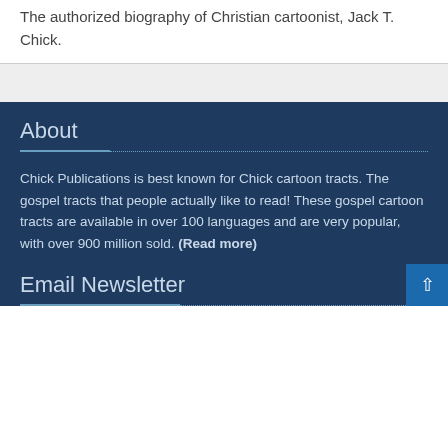The authorized biography of Christian cartoonist, Jack T. Chick.
About
Chick Publications is best known for Chick cartoon tracts. The gospel tracts that people actually like to read! These gospel cartoon tracts are available in over 100 languages and are very popular, with over 900 million sold. (Read more)
Email Newsletter